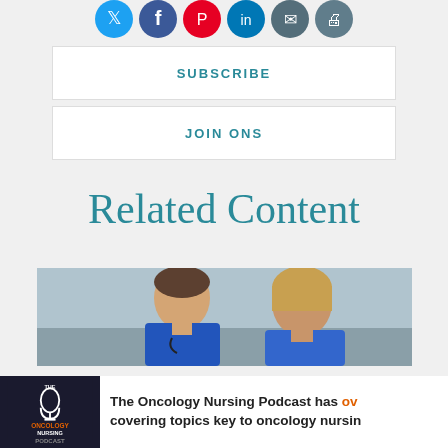[Figure (other): Social media sharing icons (Twitter, Facebook, Pinterest, LinkedIn, email, print) as colored circles at the top of the page]
SUBSCRIBE
JOIN ONS
Related Content
[Figure (photo): Two healthcare professionals in blue scrubs looking down at something, in a clinical setting]
[Figure (infographic): The Oncology Nursing Podcast logo on a phone screen with text: The Oncology Nursing Podcast has over [cut off] covering topics key to oncology nursing [cut off]]